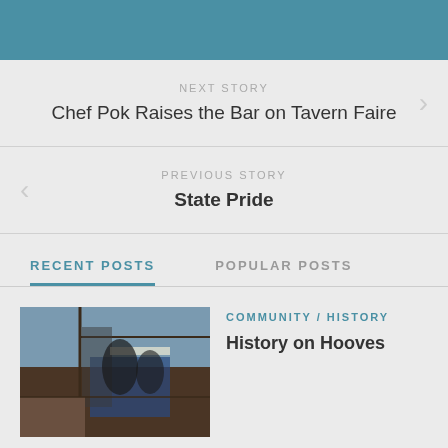NEXT STORY
Chef Pok Raises the Bar on Tavern Faire
PREVIOUS STORY
State Pride
RECENT POSTS
POPULAR POSTS
COMMUNITY / HISTORY
History on Hooves